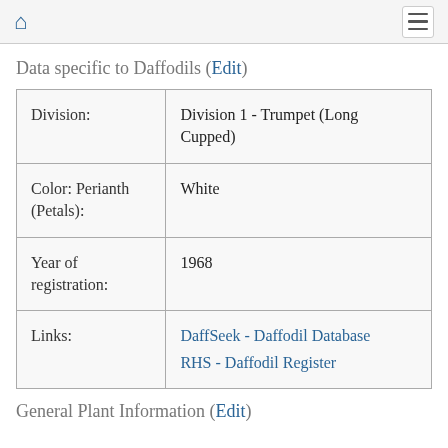Home | Menu
Data specific to Daffodils (Edit)
| Division: | Division 1 - Trumpet (Long Cupped) |
| Color: Perianth (Petals): | White |
| Year of registration: | 1968 |
| Links: | DaffSeek - Daffodil Database
RHS - Daffodil Register |
General Plant Information (Edit)